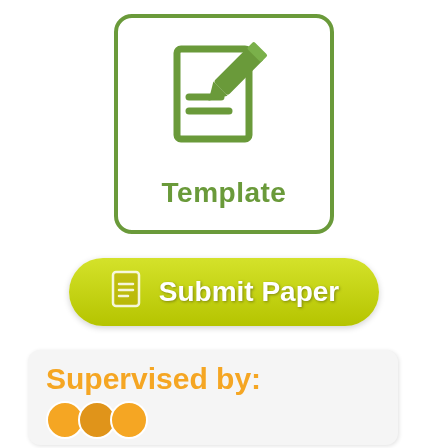[Figure (logo): Green rounded square icon with a document and pencil/edit symbol, labeled 'Template' in green bold text below]
[Figure (infographic): Yellow-green rounded pill button with a white document icon and bold white text reading 'Submit Paper']
[Figure (infographic): Light grey rounded rectangle card with bold orange text 'Supervised by:' and partial orange avatar circles at bottom]